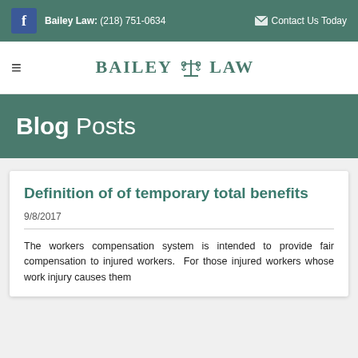Bailey Law: (218) 751-0634   Contact Us Today
[Figure (logo): Bailey Law logo with scales of justice icon and text BAILEY LAW]
Blog Posts
Definition of of temporary total benefits
9/8/2017
The workers compensation system is intended to provide fair compensation to injured workers.  For those injured workers whose work injury causes them